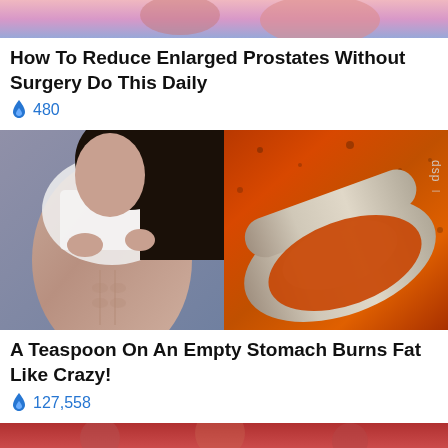[Figure (photo): Top portion of an illustration/photo partially visible at the top of the feed]
How To Reduce Enlarged Prostates Without Surgery Do This Daily
🔥 480
[Figure (photo): Left half: woman in white sports bra showing abs. Right half: metal measuring spoon filled with orange spice/powder against orange spice background with 'dsp' text visible.]
A Teaspoon On An Empty Stomach Burns Fat Like Crazy!
🔥 127,558
[Figure (photo): Partial image visible at the very bottom of the page, reddish tones]